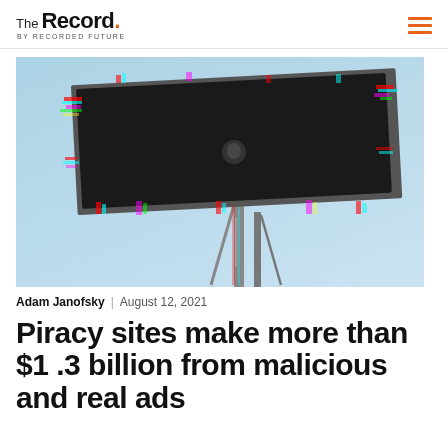The Record. BY RECORDED FUTURE
[Figure (photo): Photograph of a large outdoor digital billboard against a blue sky, showing a dark/black screen with a glitch/chromatic aberration effect applied to the image edges. The billboard is mounted on metal poles.]
Adam Janofsky | August 12, 2021
Piracy sites make more than $1 .3 billion from malicious and real ads